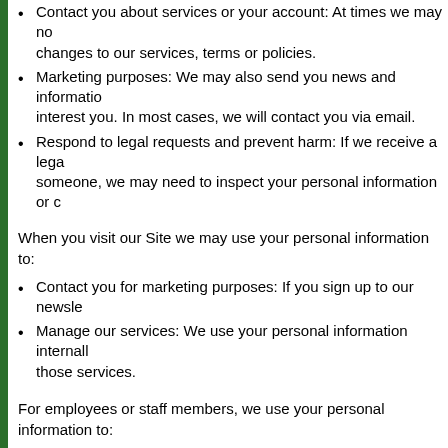Contact you about services or your account: At times we may need to notify you of changes to our services, terms or policies.
Marketing purposes: We may also send you news and information about products that may interest you. In most cases, we will contact you via email.
Respond to legal requests and prevent harm: If we receive a legal request relating to someone, we may need to inspect your personal information or otherwise.
When you visit our Site we may use your personal information to:
Contact you for marketing purposes: If you sign up to our newsletter
Manage our services: We use your personal information internally to manage and improve those services.
For employees or staff members, we use your personal information to:
Provide our services to our clients: We collect, use and store your information to help them mitigate risk and create a safe workplace for you.
Disclosure of personal information to third parties
We will share your personal information with third parties only in the ways described. We often need to disclose your personal information to our staff or the service providers. These include: hosting services; project management software; email service providers; and analytics. These companies are only authorised to use your personal information